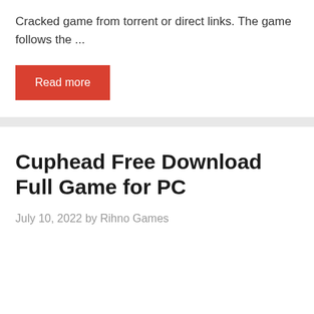Cracked game from torrent or direct links. The game follows the ...
Read more
Cuphead Free Download Full Game for PC
July 10, 2022 by Rihno Games